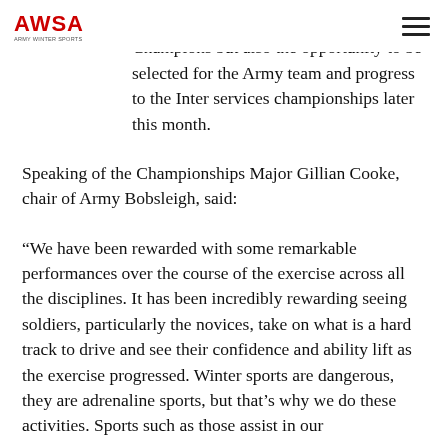AWSA [logo]
chance to be crowned the Army Champions but also the opportunity to be selected for the Army team and progress to the Inter services championships later this month.
Speaking of the Championships Major Gillian Cooke, chair of Army Bobsleigh, said:
“We have been rewarded with some remarkable performances over the course of the exercise across all the disciplines. It has been incredibly rewarding seeing soldiers, particularly the novices, take on what is a hard track to drive and see their confidence and ability lift as the exercise progressed. Winter sports are dangerous, they are adrenaline sports, but that’s why we do these activities. Sports such as those assist in our